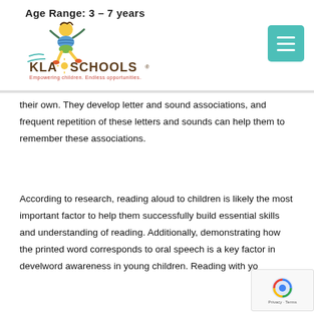Age Range: 3 – 7 years
[Figure (logo): KLA Schools logo with cartoon child figure. Text reads 'KLA SCHOOLS® Empowering children. Endless opportunities.']
their own. They develop letter and sound associations, and frequent repetition of these letters and sounds can help them to remember these associations.
According to research, reading aloud to children is likely the most important factor to help them successfully build essential skills and understanding of reading. Additionally, demonstrating how the printed word corresponds to oral speech is a key factor in developing word awareness in young children. Reading with your